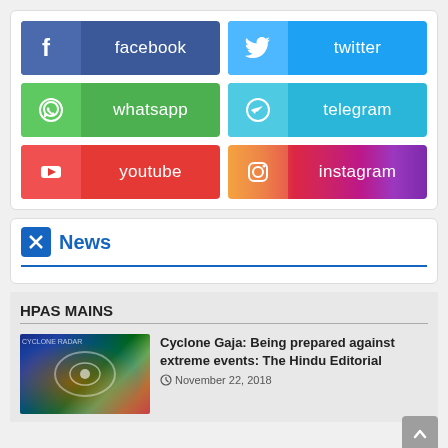[Figure (infographic): Social media share buttons in a 2x3 grid: Facebook (dark blue), Twitter (light blue), WhatsApp (green), Telegram (cyan), YouTube (red), Instagram (gradient pink/purple). Each button has an icon on the left and the platform name on the right.]
News
HPAS MAINS
Cyclone Gaja: Being prepared against extreme events: The Hindu Editorial
November 22, 2018